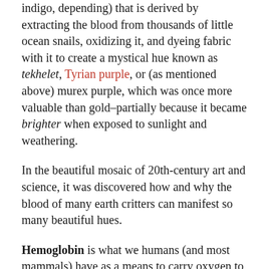indigo, depending) that is derived by extracting the blood from thousands of little ocean snails, oxidizing it, and dyeing fabric with it to create a mystical hue known as tekhelet, Tyrian purple, or (as mentioned above) murex purple, which was once more valuable than gold–partially because it became brighter when exposed to sunlight and weathering.
In the beautiful mosaic of 20th-century art and science, it was discovered how and why the blood of many earth critters can manifest so many beautiful hues.
Hemoglobin is what we humans (and most mammals) have as a means to carry oxygen to the cells in our bodies. It uses iron molecules to get the job done.